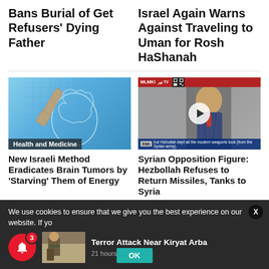Bans Burial of Get Refusers' Dying Father
Israel Again Warns Against Traveling to Uman for Rosh HaShanah
[Figure (illustration): Illustration of a human head profile with a brain and a finger pointing to it on a blue grid background. Badge reads 'Health and Medicine'.]
[Figure (screenshot): Video screenshot from MLMKI TV showing a news anchor. Subtitle reads 'but Hizbullah kept all the modern weapons took (from the Syrian army).' Iran category badge shown.]
New Israeli Method Eradicates Brain Tumors by 'Starving' Them of Energy
Syrian Opposition Figure: Hezbollah Refuses to Return Missiles, Tanks to Syria
We use cookies to ensure that we give you the best experience on our website. If yo
[Figure (photo): Thumbnail photo of a soldier in military gear in a desert environment.]
Terror Attack Near Kiryat Arba
21 hours ago